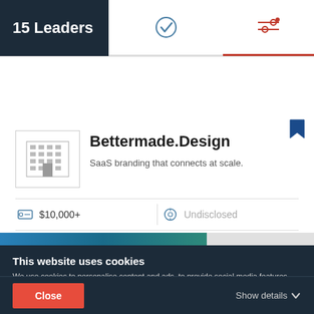15 Leaders
Bettermade.Design
SaaS branding that connects at scale.
| Icon | Value | Icon | Value |
| --- | --- | --- | --- |
| (budget icon) | $10,000+ | (clock icon) | Undisclosed |
| (person icon) | 2 - 9 | (location icon) | Zetland, Australia |
Ability to deliver    24.2
This website uses cookies
We use cookies to personalise content and ads, to provide social media features and to analyse our traffic. We also share information about your use of our site with our social media, advertising and analytics partners who may combine it with other information that you've provided to them or that they've collected from your use of their services. You agree to our cookies if you continue to use our website.
Close
Show details